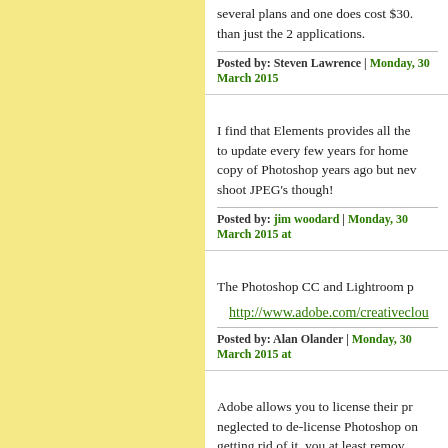several plans and one does cost $30. than just the 2 applications.
Posted by: Steven Lawrence | Monday, 30 March 2015
I find that Elements provides all the to update every few years for home copy of Photoshop years ago but nev shoot JPEG's though!
Posted by: jim woodard | Monday, 30 March 2015 at
The Photoshop CC and Lightroom p
http://www.adobe.com/creativeclou
Posted by: Alan Olander | Monday, 30 March 2015 at
Adobe allows you to license their pr neglected to de-license Photoshop on getting rid of it, you at least remov